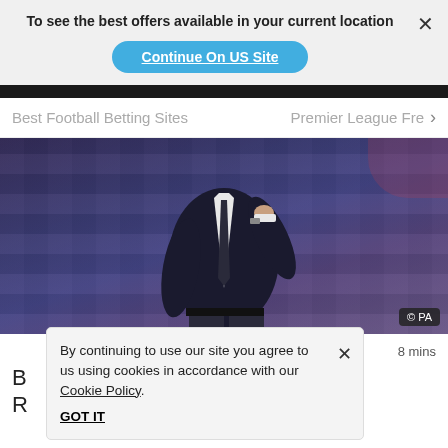To see the best offers available in your current location
Continue On US Site
Best Football Betting Sites
Premier League Fre…
[Figure (photo): A person in a dark suit and white shirt/tie standing on a football pitch sideline, with blurred stadium seats in purple/blue tones in the background. © PA watermark in bottom right.]
8 mins
B … r League R
By continuing to use our site you agree to us using cookies in accordance with our Cookie Policy.
GOT IT